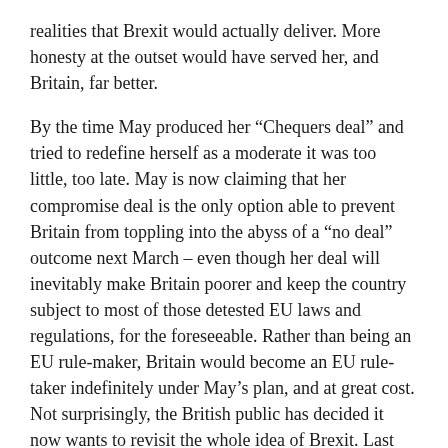realities that Brexit would actually deliver. More honesty at the outset would have served her, and Britain, far better.
By the time May produced her “Chequers deal” and tried to redefine herself as a moderate it was too little, too late. May is now claiming that her compromise deal is the only option able to prevent Britain from toppling into the abyss of a “no deal” outcome next March – even though her deal will inevitably make Britain poorer and keep the country subject to most of those detested EU laws and regulations, for the foreseeable. Rather than being an EU rule-maker, Britain would become an EU rule-taker indefinitely under May’s plan, and at great cost. Not surprisingly, the British public has decided it now wants to revisit the whole idea of Brexit. Last week, a majority of those polled supported staying in the European Union.
A second referendum seems increasingly likely:
Nothing better illustrates the delusional nature of the promises leavers made to voters than May’s deal. This isn’t some poorly